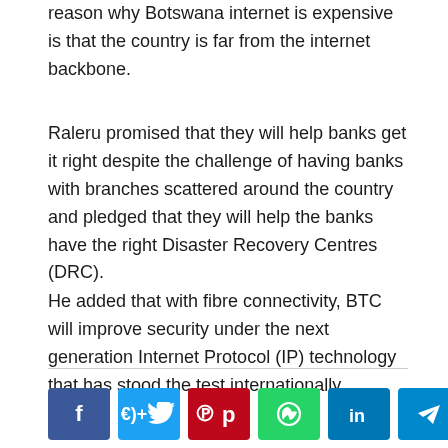reason why Botswana internet is expensive is that the country is far from the internet backbone.
Raleru promised that they will help banks get it right despite the challenge of having banks with branches scattered around the country and pledged that they will help the banks have the right Disaster Recovery Centres (DRC).
He added that with fibre connectivity, BTC will improve security under the next generation Internet Protocol (IP) technology that has stood the test internationally.